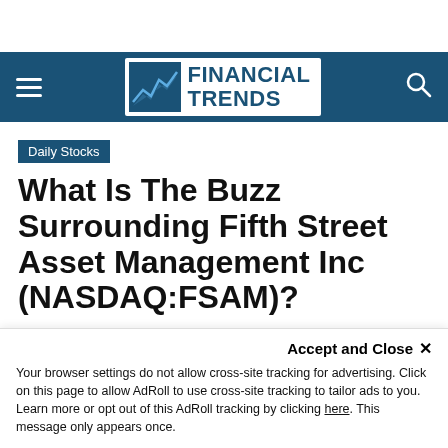Financial Trends - navigation bar with logo
Daily Stocks
What Is The Buzz Surrounding Fifth Street Asset Management Inc (NASDAQ:FSAM)?
By Neha Rathod - 1045 views
Accept and Close ✕
Your browser settings do not allow cross-site tracking for advertising. Click on this page to allow AdRoll to use cross-site tracking to tailor ads to you. Learn more or opt out of this AdRoll tracking by clicking here. This message only appears once.